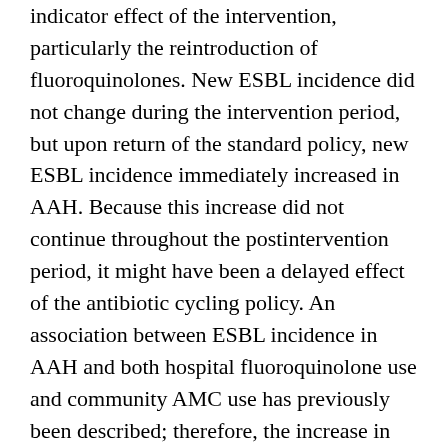indicator effect of the intervention, particularly the reintroduction of fluoroquinolones. New ESBL incidence did not change during the intervention period, but upon return of the standard policy, new ESBL incidence immediately increased in AAH. Because this increase did not continue throughout the postintervention period, it might have been a delayed effect of the antibiotic cycling policy. An association between ESBL incidence in AAH and both hospital fluoroquinolone use and community AMC use has previously been described; therefore, the increase in new ESBL-producing organisms in our study might have resulted from the increased use of fluoroquinolones during the intervention and postintervention periods (41). Primary care antimicrobial drug use also might have contributed to the increase in ESBL-producing organisms, but because we did not measure that variable, we cannot